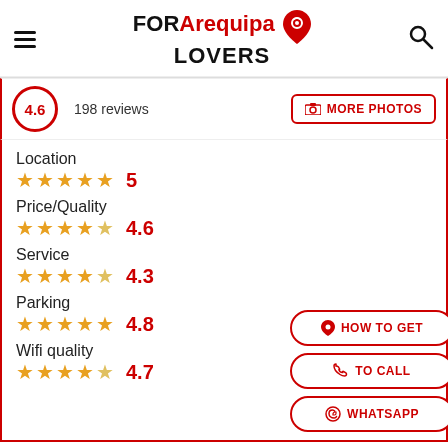[Figure (logo): FOR Arequipa LOVERS logo with red map pin icon, hamburger menu on left, search icon on right]
4.6  198 reviews
MORE PHOTOS
Location  ★★★★★  5
Price/Quality  ★★★★½  4.6
Service  ★★★★½  4.3
Parking  ★★★★★  4.8
Wifi quality  ★★★★½  4.7
HOW TO GET
TO CALL
WHATSAPP